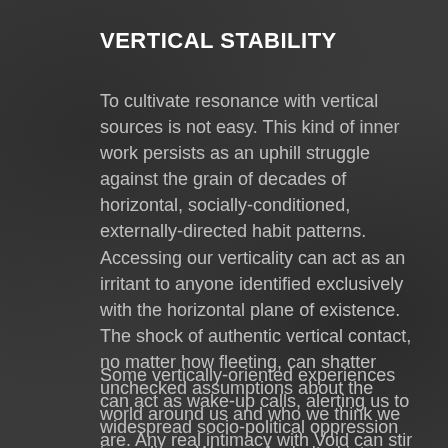VERTICAL STABILITY
To cultivate resonance with vertical sources is not easy. This kind of inner work persists as an uphill struggle against the grain of decades of horizontal, socially-conditioned, externally-directed habit patterns. Accessing our verticality can act as an irritant to anyone identified exclusively with the horizontal plane of existence. The shock of authentic vertical contact, no matter how fleeting, can shatter unchecked assumptions about the world around us and who we think we are. Any real intimacy with Void can stir deep questioning about identity and the nature of reality.
Some vertically-oriented experiences can act as wake-up calls, alerting us to widespread socio-political oppression in our lives. We may be bolted into outright